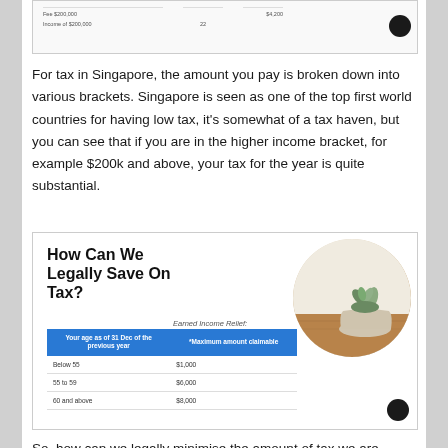[Figure (screenshot): Partial screenshot of a tax table showing fee and income rows with values like Fee $200,000, Income of $200,000, and associated amounts]
For tax in Singapore, the amount you pay is broken down into various brackets. Singapore is seen as one of the top first world countries for having low tax, it’s somewhat of a tax haven, but you can see that if you are in the higher income bracket, for example $200k and above, your tax for the year is quite substantial.
[Figure (infographic): Infographic titled 'How Can We Legally Save On Tax?' showing Earned Income Relief table with columns for age as of 31 Dec of the previous year and maximum amount claimable. Rows: Below 55 - $1,000; 55 to 59 - $6,000; 60 and above - $8,000. A plant photo appears in the top right.]
So, how can we legally minimise the amount of tax we are paying each year?